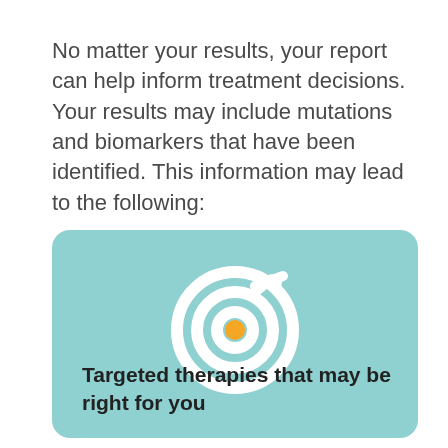No matter your results, your report can help inform treatment decisions. Your results may include mutations and biomarkers that have been identified. This information may lead to the following:
[Figure (illustration): A teal rounded-rectangle card containing a white target/bullseye icon with an orange center dot and a checkmark arrow, above bold text reading 'Targeted therapies that may be right for you']
Targeted therapies that may be right for you